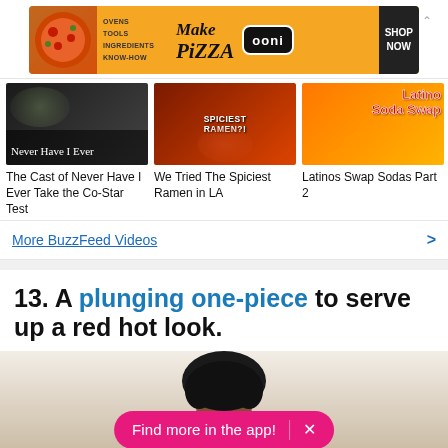[Figure (other): Ooni pizza advertisement banner: ovens, tools, ingredients, know-how. Make Pizza logo with Ooni brand. Shop Now button.]
[Figure (other): Thumbnail for 'The Cast of Never Have I Ever Take the Co-Star Test' video]
The Cast of Never Have I Ever Take the Co-Star Test
[Figure (other): Thumbnail for 'We Tried The Spiciest Ramen in LA' video]
We Tried The Spiciest Ramen in LA
[Figure (other): Thumbnail for 'Latinos Swap Sodas Part 2' video]
Latinos Swap Sodas Part 2
More BuzzFeed Videos
13. A plunging one-piece to serve up a red hot look.
[Figure (photo): Person with curly hair, partially visible. Pink 'Find more in the app!' button with X overlaid.]